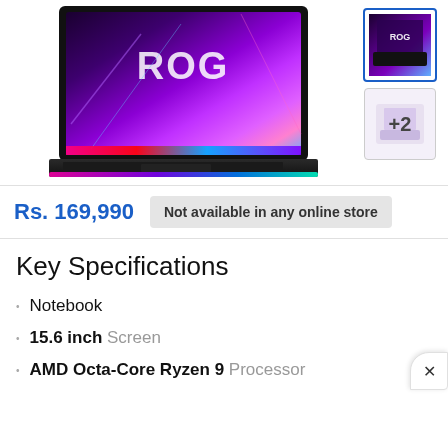[Figure (photo): ASUS ROG gaming laptop with purple/pink RGB display showing ROG logo, and black chassis with RGB lighting strip]
[Figure (photo): Small thumbnail of the same ROG laptop with blue border selected state]
[Figure (photo): Second thumbnail showing +2 more images of the laptop]
Rs. 169,990
Not available in any online store
Key Specifications
Notebook
15.6 inch Screen
AMD Octa-Core Ryzen 9 Processor